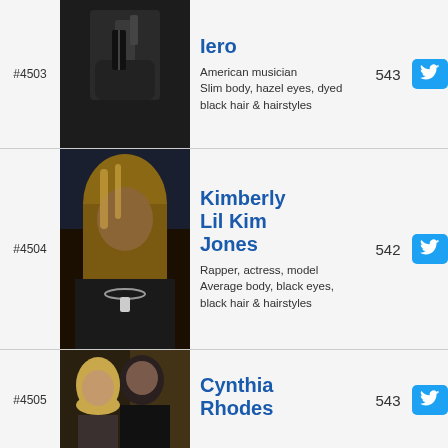#4503
[Figure (photo): Photo of Frank Iero playing guitar, wearing dark clothing]
Iero
543
American musician Slim body, hazel eyes, dyed black hair & hairstyles
#4504
[Figure (photo): Photo of Kimberly Lil Kim Jones with blonde highlights hair and cross necklace]
Kimberly Lil Kim Jones
542
Rapper, actress, model Average body, black eyes, black hair & hairstyles
#4505
[Figure (photo): Photo of Cynthia Rhodes with a man in dark clothing]
Cynthia Rhodes
543